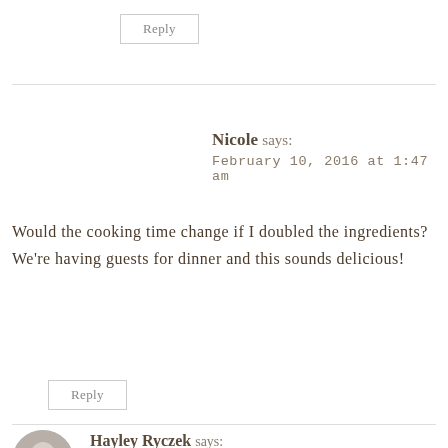Reply
Nicole says:
February 10, 2016 at 1:47 am
Would the cooking time change if I doubled the ingredients? We're having guests for dinner and this sounds delicious!
Reply
Hayley Ryczek says:
February 10, 2016 at 6:49 am